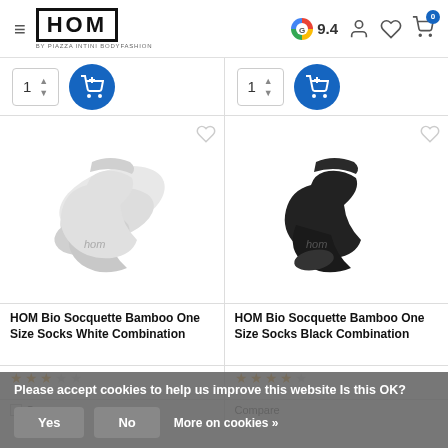HOM by PIAZZA INTINI BODYFASHION — Google 9.4
[Figure (screenshot): Two product cards showing HOM Bio Socquette Bamboo socks, white and black combinations, with quantity selectors and add-to-cart buttons]
HOM Bio Socquette Bamboo One Size Socks White Combination
HOM Bio Socquette Bamboo One Size Socks Black Combination
Please accept cookies to help us improve this website Is this OK?
Yes  No  More on cookies »
Compare
Compare